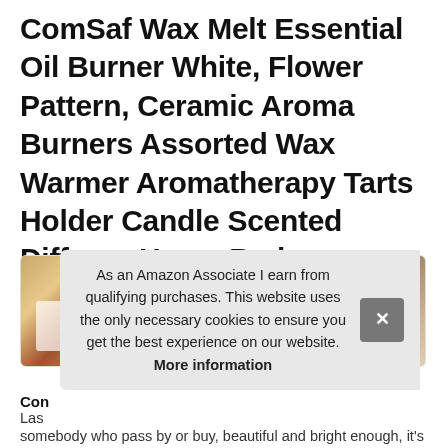ComSaf Wax Melt Essential Oil Burner White, Flower Pattern, Ceramic Aroma Burners Assorted Wax Warmer Aromatherapy Tarts Holder Candle Scented Diffuser Home Bedroom Decor Christmas Housewarming Gift
[Figure (photo): Row of four product thumbnail images showing ceramic wax melt burners/oil burners in various settings]
As an Amazon Associate I earn from qualifying purchases. This website uses the only necessary cookies to ensure you get the best experience on our website. More information
Con
Las
somebody who pass by or buy, beautiful and bright enough, it's